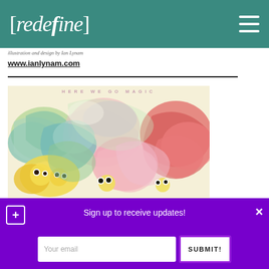[redefine]
illustration and design by Ian Lynam
www.ianlynam.com
[Figure (illustration): HERE WE GO MAGIC album cover artwork showing colorful marbled paint swirls with cartoon-like creature faces in yellow, pink, red, green and teal tones on a cream background]
Sign up to receive updates!
Your email
SUBMIT!